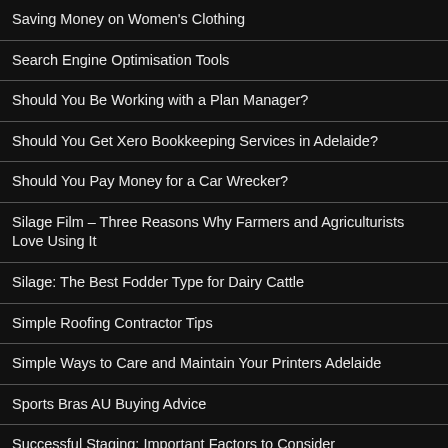Saving Money on Women's Clothing
Search Engine Optimisation Tools
Should You Be Working with a Plan Manager?
Should You Get Xero Bookkeeping Services in Adelaide?
Should You Pay Money for a Car Wrecker?
Silage Film – Three Reasons Why Farmers and Agriculturists Love Using It
Silage: The Best Fodder Type for Dairy Cattle
Simple Roofing Contractor Tips
Simple Ways to Care and Maintain Your Printers Adelaide
Sports Bras AU Buying Advice
Successful Staging: Important Factors to Consider
Teeth Replacement Adelaide – What You Need to Know about Dental Implants